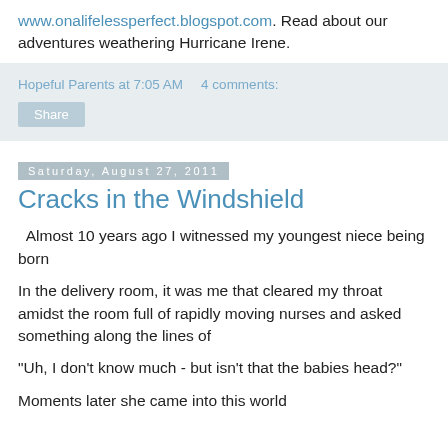www.onalifelessperfect.blogspot.com. Read about our adventures weathering Hurricane Irene.
Hopeful Parents at 7:05 AM   4 comments:
Share
Saturday, August 27, 2011
Cracks in the Windshield
Almost 10 years ago I witnessed my youngest niece being born
In the delivery room, it was me that cleared my throat amidst the room full of rapidly moving nurses and asked something along the lines of
"Uh, I don't know much - but isn't that the babies head?"
Moments later she came into this world